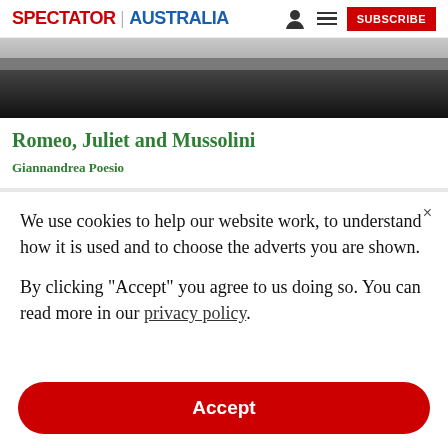SPECTATOR | AUSTRALIA
[Figure (photo): Partial view of a stage or performance scene, dark at bottom with lighter grey tones at top showing performers or objects.]
Romeo, Juliet and Mussolini
Giannandrea Poesio
We use cookies to help our website work, to understand how it is used and to choose the adverts you are shown.
By clicking "Accept" you agree to us doing so. You can read more in our privacy policy.
Accept